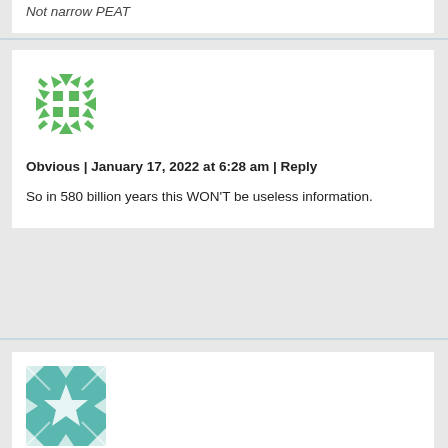Not narrow PEAT
[Figure (illustration): Green geometric snowflake/cross avatar icon for user Obvious]
Obvious | January 17, 2022 at 6:28 am | Reply
So in 580 billion years this WON’T be useless information.
[Figure (illustration): Teal/mint geometric star quilt pattern avatar icon for user Hal]
Hal | January 17, 2022 at 6:34 am | Reply